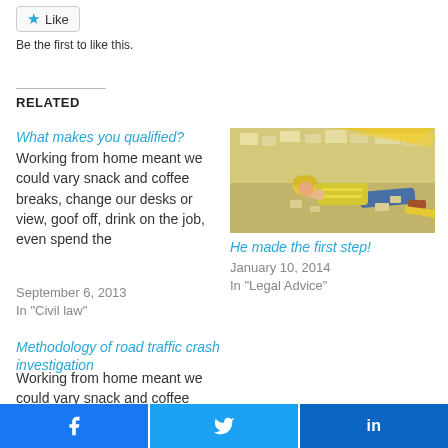Like
Be the first to like this.
RELATED
What makes you qualified?
Working from home meant we could vary snack and coffee breaks, change our desks or view, goof off, drink on the job, even spend the
September 6, 2013
In "Civil law"
[Figure (photo): Construction worker in yellow vest lying on ground surrounded by debris and rubble]
He made the first step!
January 10, 2014
In "Legal Advice"
Methodology of road traffic crash investigation
Working from home meant we could vary snack and coffee breaks, change our
Facebook share button
Twitter share button
LinkedIn share button